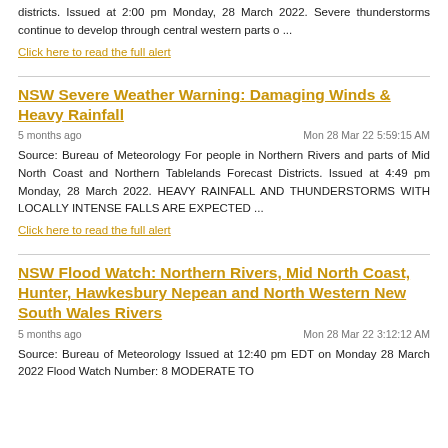districts. Issued at 2:00 pm Monday, 28 March 2022. Severe thunderstorms continue to develop through central western parts o ...
Click here to read the full alert
NSW Severe Weather Warning: Damaging Winds & Heavy Rainfall
5 months ago
Mon 28 Mar 22 5:59:15 AM
Source: Bureau of Meteorology For people in Northern Rivers and parts of Mid North Coast and Northern Tablelands Forecast Districts. Issued at 4:49 pm Monday, 28 March 2022. HEAVY RAINFALL AND THUNDERSTORMS WITH LOCALLY INTENSE FALLS ARE EXPECTED ...
Click here to read the full alert
NSW Flood Watch: Northern Rivers, Mid North Coast, Hunter, Hawkesbury Nepean and North Western New South Wales Rivers
5 months ago
Mon 28 Mar 22 3:12:12 AM
Source: Bureau of Meteorology Issued at 12:40 pm EDT on Monday 28 March 2022 Flood Watch Number: 8 MODERATE TO ...